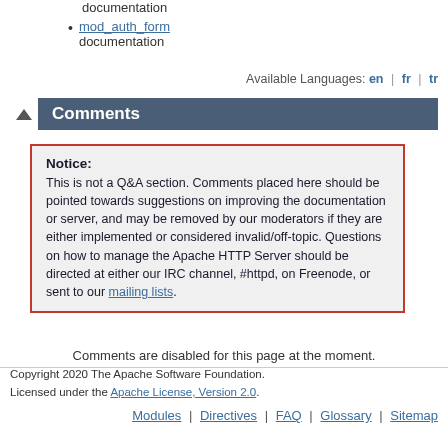documentation
mod_auth_form documentation
Available Languages: en | fr | tr
Comments
Notice: This is not a Q&A section. Comments placed here should be pointed towards suggestions on improving the documentation or server, and may be removed by our moderators if they are either implemented or considered invalid/off-topic. Questions on how to manage the Apache HTTP Server should be directed at either our IRC channel, #httpd, on Freenode, or sent to our mailing lists.
Comments are disabled for this page at the moment.
Copyright 2020 The Apache Software Foundation. Licensed under the Apache License, Version 2.0.
Modules | Directives | FAQ | Glossary | Sitemap